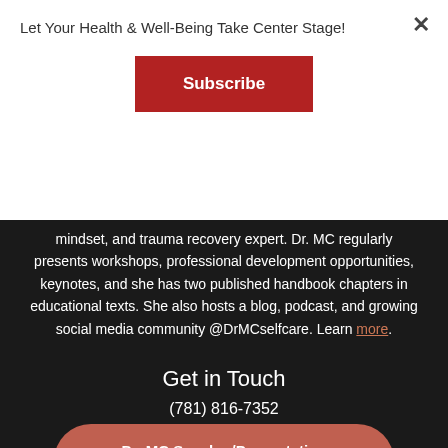Let Your Health & Well-Being Take Center Stage!
Subscribe
mindset, and trauma recovery expert. Dr. MC regularly presents workshops, professional development opportunities, keynotes, and she has two published handbook chapters in educational texts. She also hosts a blog, podcast, and growing social media community @DrMCselfcare. Learn more.
Get in Touch
(781) 816-7352
Dr. MC Speaker/Presentation Request Form
Social Media Links